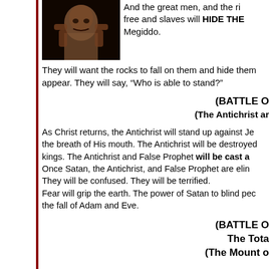[Figure (photo): Dark image of a person with hands near face, appearing distressed]
And the great men, and the ri free and slaves will HIDE THE Megiddo.
They will want the rocks to fall on them and hide them appear. They will say, “Who is able to stand?”
(BATTLE O
(The Antichrist ar
As Christ returns, the Antichrist will stand up against Je the breath of His mouth. The Antichrist will be destroyed kings. The Antichrist and False Prophet will be cast a Once Satan, the Antichrist, and False Prophet are elin They will be confused. They will be terrified.
Fear will grip the earth. The power of Satan to blind pec the fall of Adam and Eve.
(BATTLE O
The Tota
(The Mount o
The sun is darkened, the moon no longer will give her li The return of the Son of man will appear...